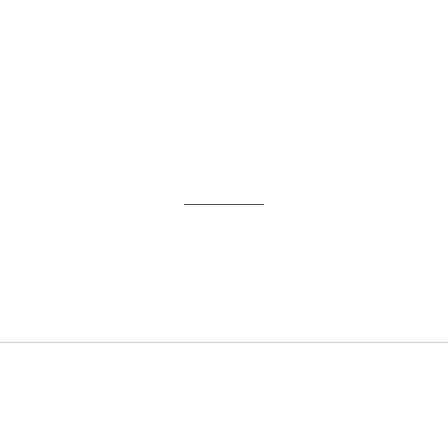25 Comments
Leave a comment
Your email address will not be published. Required fields are marked *